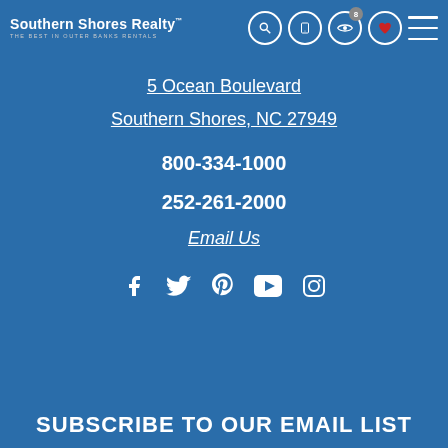[Figure (logo): Southern Shores Realty logo with tagline 'THE BEST IN OUTER BANKS RENTALS' and navigation icons (search, mobile, eye, heart with badge 8, menu)]
5 Ocean Boulevard
Southern Shores, NC 27949
800-334-1000
252-261-2000
Email Us
[Figure (infographic): Social media icons row: Facebook, Twitter, Pinterest, YouTube, Instagram]
SUBSCRIBE TO OUR EMAIL LIST